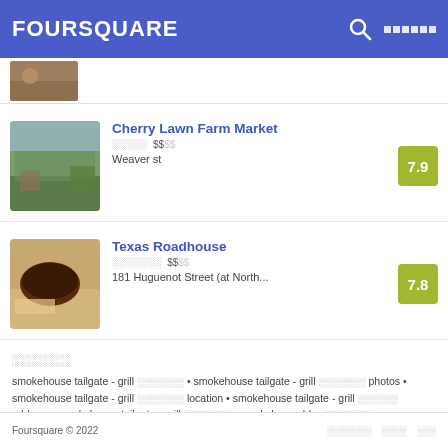FOURSQUARE
[Figure (photo): Partial venue photo visible at top]
Cherry Lawn Farm Market
░░░░░ $$░░ Weaver st — score: 7.9
Texas Roadhouse
░░░░░░░ $$░░ 181 Huguenot Street (at North... — score: 7.8
░░░░░░░
smokehouse tailgate - grill ░░░░░░░ • smokehouse tailgate - grill ░░░░░░░ photos • smokehouse tailgate - grill ░░░░░░░ location • smokehouse tailgate - grill ░░░░░░ address • smokehouse tailgate - grill ░░░░░░░ • smokehouse bbq ░░░░░░░ • smokehouse chili grill ░░░░░░░ • smokehouse chili - grill ░░░░░░░ • smokehouse grill ░░░░░░░ • smokehouse tailgate grill ░░░░░░░ • smokehouse tailgate - grill ░░░░░░░ •
Foursquare © 2022